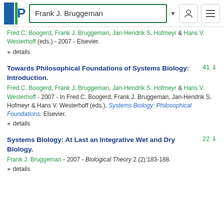Frank J. Bruggeman
Fred C. Boogerd, Frank J. Bruggeman, Jan-Hendrik S. Hofmeyr & Hans V. Westerhoff (eds.) - 2007 - Elsevier.
+ details
Towards Philosophical Foundations of Systems Biology: Introduction.
41 [download]
Fred C. Boogerd, Frank J. Bruggeman, Jan-Hendrik S. Hofmeyr & Hans V. Westerhoff - 2007 - In Fred C. Boogerd, Frank J. Bruggeman, Jan-Hendrik S. Hofmeyr & Hans V. Westerhoff (eds.), Systems Biology: Philosophical Foundations. Elsevier.
+ details
Systems Biology: At Last an Integrative Wet and Dry Biology.
22 [download]
Frank J. Bruggeman - 2007 - Biological Theory 2 (2):183-188.
+ details